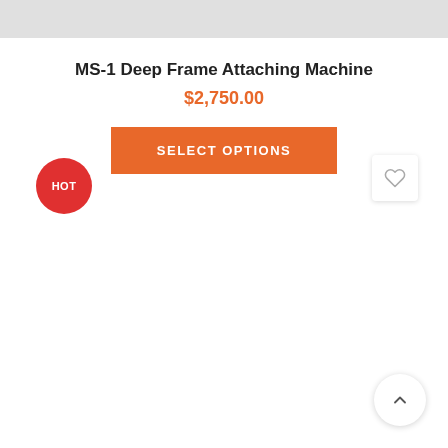MS-1 Deep Frame Attaching Machine
$2,750.00
SELECT OPTIONS
HOT